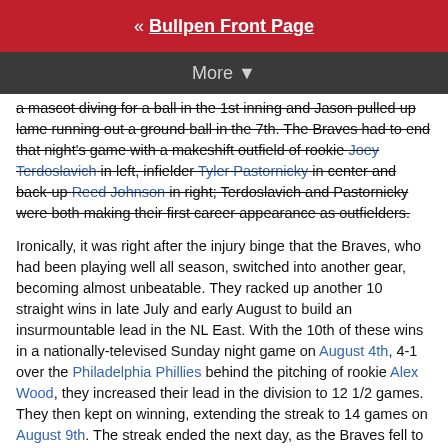« Bullpen Front Page
More ▼
a mascot diving for a ball in the 1st inning and Jason pulled up lame running out a ground ball in the 7th. The Braves had to end that night's game with a makeshift outfield of rookie Joey Terdoslavich in left, infielder Tyler Pastornicky in center and back-up Reed Johnson in right; Terdoslavich and Pastornicky were both making their first career appearance as outfielders.
Ironically, it was right after the injury binge that the Braves, who had been playing well all season, switched into another gear, becoming almost unbeatable. They racked up another 10 straight wins in late July and early August to build an insurmountable lead in the NL East. With the 10th of these wins in a nationally-televised Sunday night game on August 4th, 4-1 over the Philadelphia Phillies behind the pitching of rookie Alex Wood, they increased their lead in the division to 12 1/2 games. They then kept on winning, extending the streak to 14 games on August 9th. The streak ended the next day, as the Braves fell to the Miami Marlins, but it was in spite of another great pitching performance by Wood, who pitched 6 scoreless innings